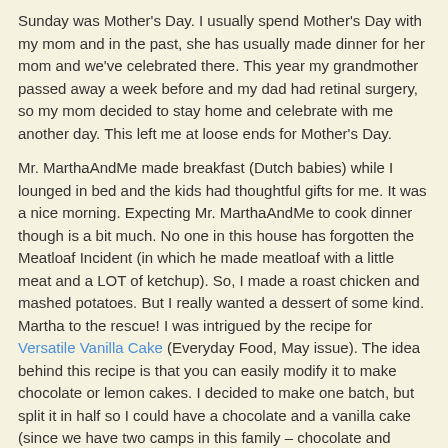Sunday was Mother's Day. I usually spend Mother's Day with my mom and in the past, she has usually made dinner for her mom and we've celebrated there. This year my grandmother passed away a week before and my dad had retinal surgery, so my mom decided to stay home and celebrate with me another day. This left me at loose ends for Mother's Day.
Mr. MarthaAndMe made breakfast (Dutch babies) while I lounged in bed and the kids had thoughtful gifts for me. It was a nice morning. Expecting Mr. MarthaAndMe to cook dinner though is a bit much. No one in this house has forgotten the Meatloaf Incident (in which he made meatloaf with a little meat and a LOT of ketchup). So, I made a roast chicken and mashed potatoes. But I really wanted a dessert of some kind. Martha to the rescue! I was intrigued by the recipe for Versatile Vanilla Cake (Everyday Food, May issue). The idea behind this recipe is that you can easily modify it to make chocolate or lemon cakes. I decided to make one batch, but split it in half so I could have a chocolate and a vanilla cake (since we have two camps in this family – chocolate and vanilla).
[Figure (photo): A round cake in a blue baking pan, with blue tile backsplash visible in the background.]